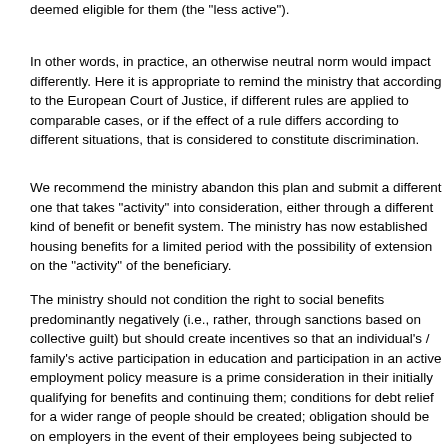deemed eligible for them (the "less active").
In other words, in practice, an otherwise neutral norm would impact differently. Here it is appropriate to remind the ministry that according to the European Court of Justice, if different rules are applied to comparable cases, or if the effect of a rule differs according to different situations, that is considered to constitute discrimination.
We recommend the ministry abandon this plan and submit a different one that takes "activity" into consideration, either through a different kind of benefit or benefit system. The ministry has now established housing benefits for a limited period with the possibility of extension on the "activity" of the beneficiary.
The ministry should not condition the right to social benefits predominantly negatively (i.e., rather, through sanctions based on collective guilt) but should create incentives so that an individual's / family's active participation in education and participation in an active employment policy measure is a prime consideration in their initially qualifying for benefits and continuing them; conditions for debt relief for a wider range of people should be created; obligation should be on employers in the event of their employees being subjected to collective sanctions; favourable conditions for municipalities to employ persons who have proved themselves active; new and better active employment policy instruments should be created, and poverty should be fought through multidisciplinary, overlapping efforts, i.e., not mainly by the